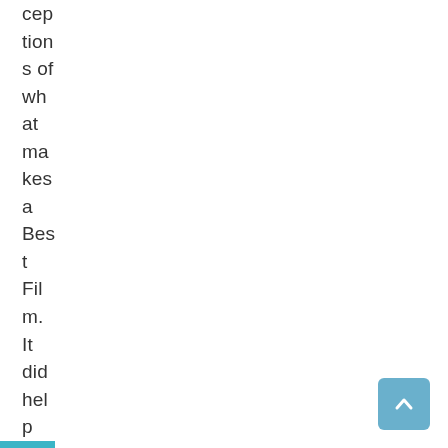ceptions of what makes a Best Film. It did help that the director